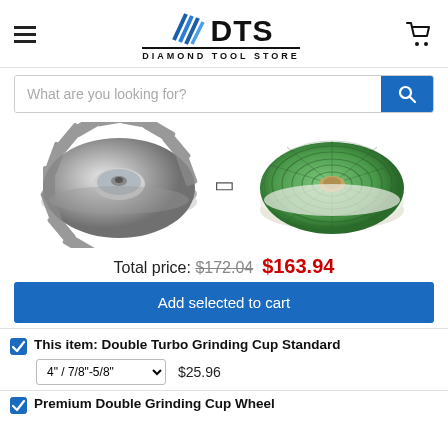[Figure (logo): Diamond Tool Store (DTS) logo with diagonal stripe diamond icon and text DIAMOND TOOL STORE below]
What are you looking for?
[Figure (photo): Two product photos: a silver double turbo grinding cup wheel (left) and green polishing pads (right)]
Total price: $172.04 $163.94
Add selected to cart
This item: Double Turbo Grinding Cup Standard
4" / 7/8"-5/8"  $25.96
Premium Double Grinding Cup Wheel...